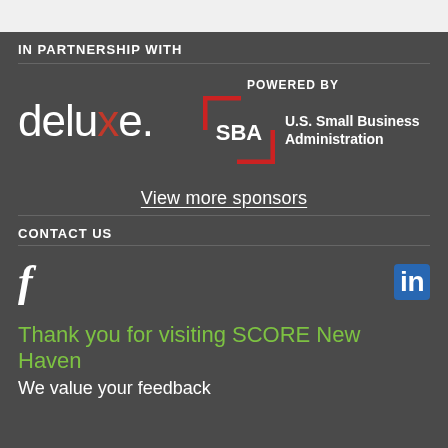IN PARTNERSHIP WITH
[Figure (logo): Deluxe logo with stylized red x and SBA U.S. Small Business Administration logo with POWERED BY label]
View more sponsors
CONTACT US
[Figure (logo): Facebook and LinkedIn social media icons]
Thank you for visiting SCORE New Haven
We value your feedback